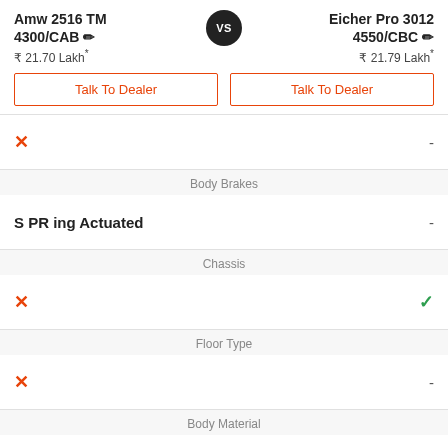Amw 2516 TM 4300/CAB
Eicher Pro 3012 4550/CBC
₹ 21.70 Lakh*
₹ 21.79 Lakh*
Talk To Dealer
Talk To Dealer
| Left | Category | Right |
| --- | --- | --- |
| ✗ |  | - |
|  | Body Brakes |  |
| S PR ing Actuated |  | - |
|  | Chassis |  |
| ✗ |  | ✓ |
|  | Floor Type |  |
| ✗ |  | - |
|  | Body Material |  |
| ✗ |  | - |
|  | Canopy Length |  |
| ✗ |  |  |